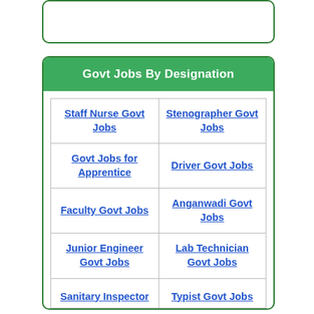| Column 1 | Column 2 |
| --- | --- |
| Staff Nurse Govt Jobs | Stenographer Govt Jobs |
| Govt Jobs for Apprentice | Driver Govt Jobs |
| Faculty Govt Jobs | Anganwadi Govt Jobs |
| Junior Engineer Govt Jobs | Lab Technician Govt Jobs |
| Sanitary Inspector | Typist Govt Jobs |